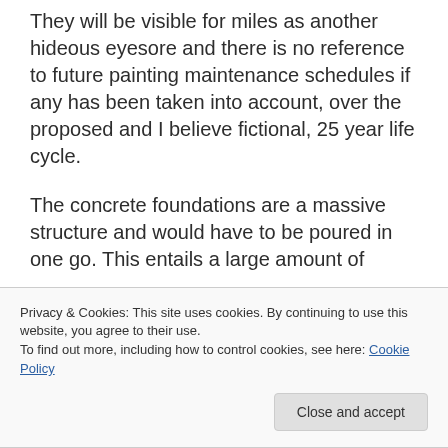They will be visible for miles as another hideous eyesore and there is no reference to future painting maintenance schedules if any has been taken into account, over the proposed and I believe fictional, 25 year life cycle.
The concrete foundations are a massive structure and would have to be poured in one go. This entails a large amount of
Privacy & Cookies: This site uses cookies. By continuing to use this website, you agree to their use.
To find out more, including how to control cookies, see here: Cookie Policy